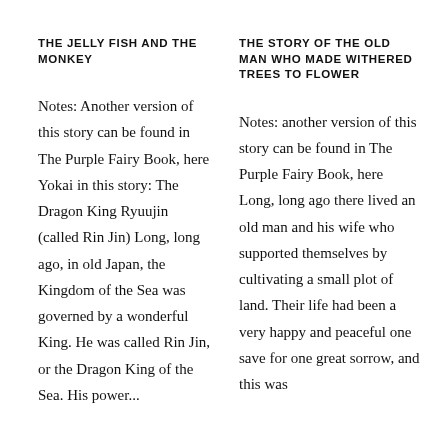THE JELLY FISH AND THE MONKEY
Notes: Another version of this story can be found in The Purple Fairy Book, here Yokai in this story: The Dragon King Ryuujin (called Rin Jin) Long, long ago, in old Japan, the Kingdom of the Sea was governed by a wonderful King. He was called Rin Jin, or the Dragon King of the Sea. His power...
THE STORY OF THE OLD MAN WHO MADE WITHERED TREES TO FLOWER
Notes: another version of this story can be found in The Purple Fairy Book, here Long, long ago there lived an old man and his wife who supported themselves by cultivating a small plot of land. Their life had been a very happy and peaceful one save for one great sorrow, and this was...